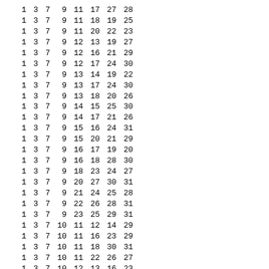| 1 | 3 | 7 | 9 | 11 | 17 | 27 | 28 |
| 1 | 3 | 7 | 9 | 11 | 18 | 19 | 25 |
| 1 | 3 | 7 | 9 | 11 | 20 | 22 | 23 |
| 1 | 3 | 7 | 9 | 12 | 13 | 19 | 27 |
| 1 | 3 | 7 | 9 | 12 | 16 | 21 | 29 |
| 1 | 3 | 7 | 9 | 12 | 17 | 24 | 30 |
| 1 | 3 | 7 | 9 | 13 | 14 | 19 | 22 |
| 1 | 3 | 7 | 9 | 13 | 17 | 24 | 30 |
| 1 | 3 | 7 | 9 | 13 | 18 | 20 | 26 |
| 1 | 3 | 7 | 9 | 14 | 15 | 25 | 30 |
| 1 | 3 | 7 | 9 | 14 | 17 | 21 | 26 |
| 1 | 3 | 7 | 9 | 15 | 16 | 24 | 31 |
| 1 | 3 | 7 | 9 | 15 | 20 | 21 | 29 |
| 1 | 3 | 7 | 9 | 16 | 17 | 19 | 20 |
| 1 | 3 | 7 | 9 | 16 | 18 | 28 | 30 |
| 1 | 3 | 7 | 9 | 18 | 23 | 24 | 27 |
| 1 | 3 | 7 | 9 | 20 | 27 | 30 | 31 |
| 1 | 3 | 7 | 9 | 21 | 24 | 25 | 28 |
| 1 | 3 | 7 | 9 | 22 | 26 | 28 | 31 |
| 1 | 3 | 7 | 9 | 23 | 25 | 29 | 31 |
| 1 | 3 | 7 | 10 | 11 | 12 | 14 | 29 |
| 1 | 3 | 7 | 10 | 11 | 16 | 23 | 29 |
| 1 | 3 | 7 | 10 | 11 | 18 | 30 | 31 |
| 1 | 3 | 7 | 10 | 11 | 22 | 26 | 27 |
| 1 | 3 | 7 | 10 | 12 | 13 | 16 | 23 |
| 1 | 3 | 7 | 10 | 12 | 13 | 21 | 23 |
| 1 | 3 | 7 | 10 | 12 | 15 | 17 | 31 |
| 1 | 3 | 7 | 10 | 12 | 20 | 24 | 27 |
| 1 | 3 | 7 | 10 | 13 | 14 | 25 | 26 |
| 1 | 3 | 7 | 10 | 13 | 15 | 21 | 31 |